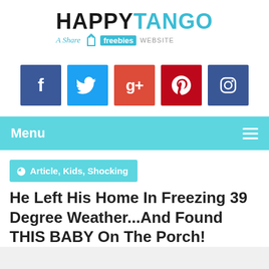[Figure (logo): HappyTango logo with 'HAPPY' in black bold and 'TANGO' in teal bold, with a tagline 'A Share Freeies WEBSITE' and a shopping bag icon]
[Figure (infographic): Five social media icon buttons: Facebook (dark blue), Twitter (light blue), Google+ (orange-red), Pinterest (red), Instagram (dark blue)]
Menu
Article, Kids, Shocking
He Left His Home In Freezing 39 Degree Weather...And Found THIS BABY On The Porch!